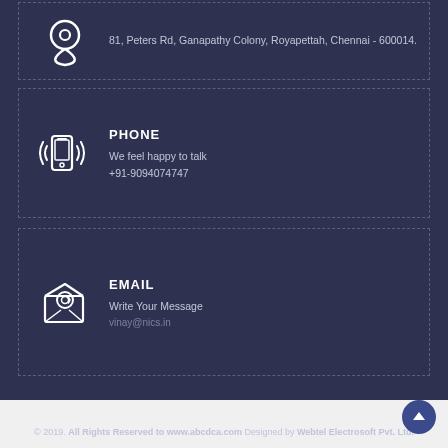81, Peters Rd, Ganapathy Colony, Royapettah, Chennai - 600014.
PHONE
We feel happy to talk
+91-9094074747
EMAIL
Write Your Message
vinay@nics.in
© 2019. All Rights Reserved to www.abcdca.com Designed by Webtel Electrosoft Pvt. Ltd.